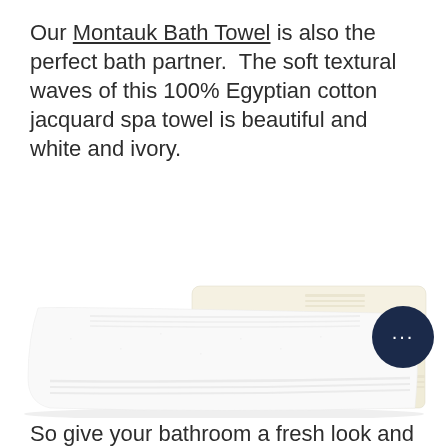Our Montauk Bath Towel is also the perfect bath partner.  The soft textural waves of this 100% Egyptian cotton jacquard spa towel is beautiful and white and ivory.
[Figure (photo): Stack of white and ivory folded bath towels with jacquard border details, displayed on a white background. One white towel is laid flat in front with two ivory/cream towels stacked behind.]
So give your bathroom a fresh look and feel with fresh